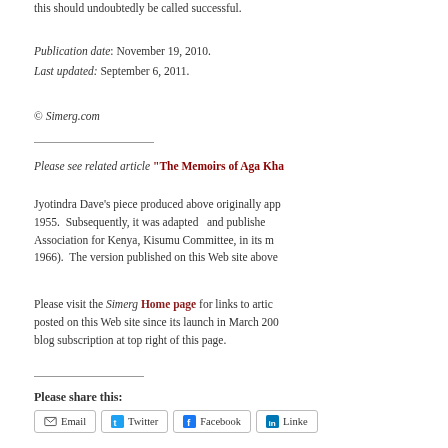this should undoubtedly be called successful.
Publication date: November 19, 2010.
Last updated: September 6, 2011.
© Simerg.com
Please see related article “The Memoirs of Aga Kha…”
Jyotindra Dave’s piece produced above originally app… 1955. Subsequently, it was adapted and publishe… Association for Kenya, Kisumu Committee, in its m… 1966). The version published on this Web site above…
Please visit the Simerg Home page for links to artic… posted on this Web site since its launch in March 200… blog subscription at top right of this page.
Please share this:
Email
Twitter
Facebook
Linked…